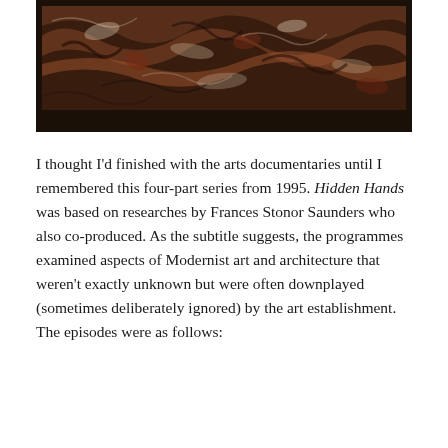[Figure (photo): A framed abstract painting photographed against a dark/black background. The painting shows a textured, chaotic surface with earthy tones — browns, reds, whites — suggesting dense, layered brushwork or mixed media. The frame is white/light grey. The bottom portion of the image is very dark black.]
I thought I'd finished with the arts documentaries until I remembered this four-part series from 1995. Hidden Hands was based on researches by Frances Stonor Saunders who also co-produced. As the subtitle suggests, the programmes examined aspects of Modernist art and architecture that weren't exactly unknown but were often downplayed (sometimes deliberately ignored) by the art establishment. The episodes were as follows: